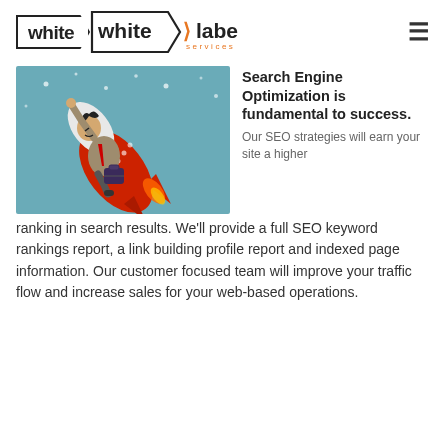white label services
[Figure (illustration): Cartoon illustration of a businessman in a suit riding a red rocket, pointing upward, holding a briefcase, on a blue background with stars.]
Search Engine Optimization is fundamental to success.
Our SEO strategies will earn your site a higher ranking in search results. We'll provide a full SEO keyword rankings report, a link building profile report and indexed page information. Our customer focused team will improve your traffic flow and increase sales for your web-based operations.